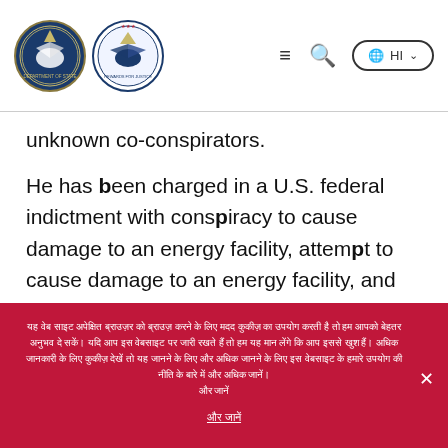[US Department of State and Rewards for Justice logos] navigation menu, search, HI language selector
unknown co-conspirators.
He has been charged in a U.S. federal indictment with conspiracy to cause damage to an energy facility, attempt to cause damage to an energy facility, and conspiracy to access protected computers and obtain information and to intentionally damage protected computers by knowing transmission. U.S. authorities issued a
यह वेबसाइट कुकीज़ का उपयोग करती है ताकि हम आपको बेहतर अनुभव दे सकें। यदि आप इस वेबसाइट का उपयोग जारी रखते हैं तो हम यह मान लेंगे कि आप इससे खुश हैं। अधिक जानें
और जानें